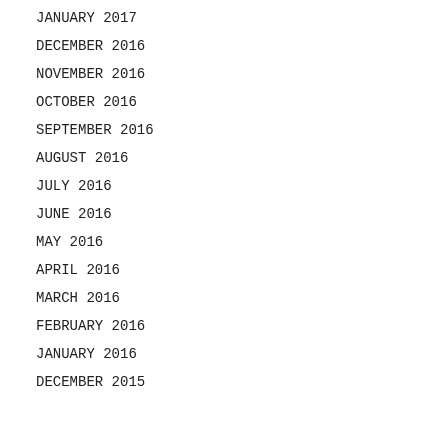JANUARY 2017
DECEMBER 2016
NOVEMBER 2016
OCTOBER 2016
SEPTEMBER 2016
AUGUST 2016
JULY 2016
JUNE 2016
MAY 2016
APRIL 2016
MARCH 2016
FEBRUARY 2016
JANUARY 2016
DECEMBER 2015